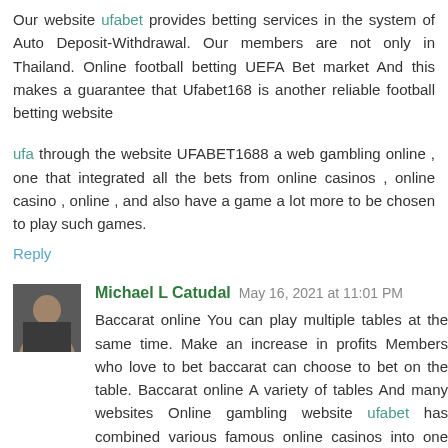Our website ufabet provides betting services in the system of Auto Deposit-Withdrawal. Our members are not only in Thailand. Online football betting UEFA Bet market And this makes a guarantee that Ufabet168 is another reliable football betting website
ufa through the website UFABET1688 a web gambling online , one that integrated all the bets from online casinos , online casino , online , and also have a game a lot more to be chosen to play such games.
Reply
Michael L Catudal  May 16, 2021 at 11:01 PM
Baccarat online You can play multiple tables at the same time. Make an increase in profits Members who love to bet baccarat can choose to bet on the table. Baccarat online A variety of tables And many websites Online gambling website ufabet has combined various famous online casinos into one website. Members can choose to play as much as they want.